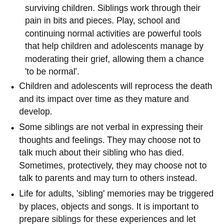surviving children. Siblings work through their pain in bits and pieces. Play, school and continuing normal activities are powerful tools that help children and adolescents manage by moderating their grief, allowing them a chance 'to be normal'.
Children and adolescents will reprocess the death and its impact over time as they mature and develop.
Some siblings are not verbal in expressing their thoughts and feelings. They may choose not to talk much about their sibling who has died. Sometimes, protectively, they may choose not to talk to parents and may turn to others instead.
Life for adults, 'sibling' memories may be triggered by places, objects and songs. It is important to prepare siblings for these experiences and let them know this is normal. It may even be useful to share your own parental triggers.